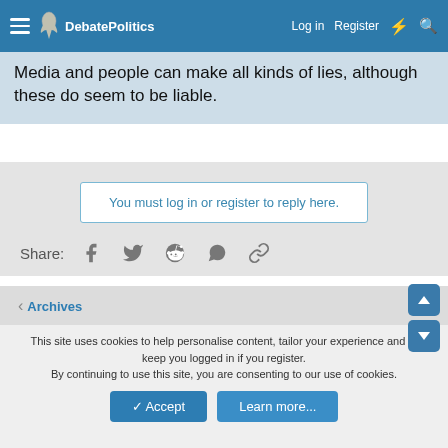DebatePolitics — Log in  Register
Media and people can make all kinds of lies, although these do seem to be liable.
You must log in or register to reply here.
Share:
< Archives
DP 3.0
Contact us   Terms and rules   Privacy policy   Help   Home   [RSS]
Community platform by XenForo® © 2010-2021 XenForo Ltd.
Awards System by AddonFlare - Premium XF2 Addons
| Add-ons by ThemeHouse | Media embeds via s9e/MediaSites
This site uses cookies to help personalise content, tailor your experience and to keep you logged in if you register.
By continuing to use this site, you are consenting to our use of cookies.